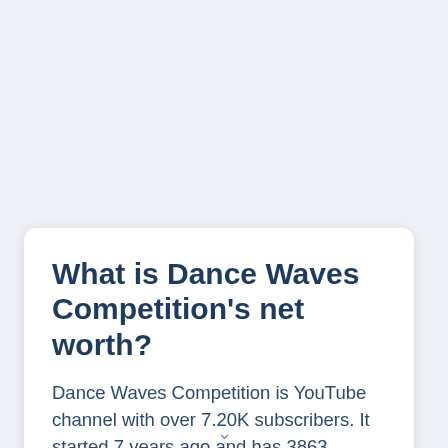What is Dance Waves Competition's net worth?
Dance Waves Competition is YouTube channel with over 7.20K subscribers. It started 7 years ago and has 3863 uploaded